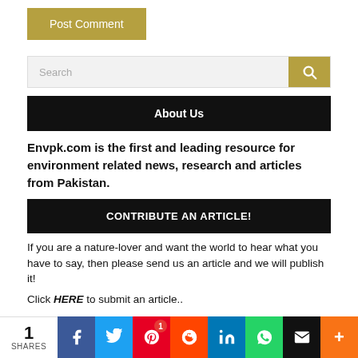Post Comment
Search
About Us
Envpk.com is the first and leading resource for environment related news, research and articles from Pakistan.
CONTRIBUTE AN ARTICLE!
If you are a nature-lover and want the world to hear what you have to say, then please send us an article and we will publish it!
Click HERE to submit an article..
1 SHARES